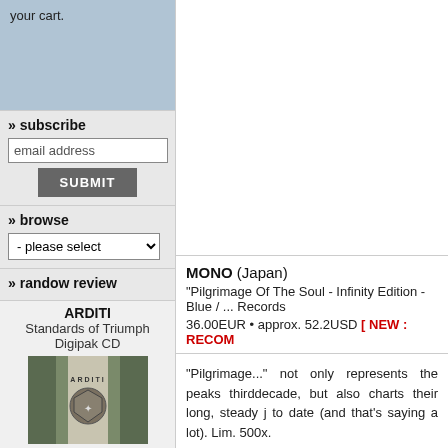your cart.
» subscribe
email address
SUBMIT
» browse
- please select
» randow review
ARDITI
Standards of Triumph
Digipak CD
[Figure (photo): Album cover art for ARDITI - Standards of Triumph Digipak CD]
MONO (Japan)
"Pilgrimage Of The Soul - Infinity Edition - Blue / ... Records
36.00EUR • approx. 52.2USD [ NEW : RECOM...
"Pilgrimage..." not only represents the peaks... thirddecade, but also charts their long, steady j... to date (and that's saying a lot). Lim. 500x.